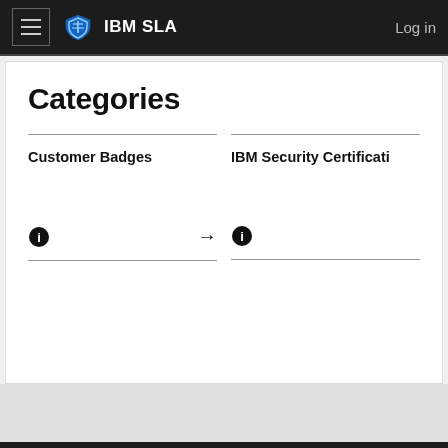IBM SLA  Log in
Categories
Customer Badges
IBM Security Certificati
Security Learning Academy
You are currently using guest access (Log in)